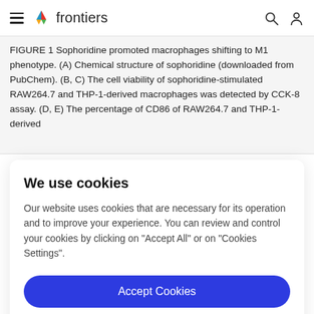frontiers (navigation bar with hamburger menu, search icon, user icon)
FIGURE 1 Sophoridine promoted macrophages shifting to M1 phenotype. (A) Chemical structure of sophoridine (downloaded from PubChem). (B, C) The cell viability of sophoridine-stimulated RAW264.7 and THP-1-derived macrophages was detected by CCK-8 assay. (D, E) The percentage of CD86 of RAW264.7 and THP-1-derived
We use cookies
Our website uses cookies that are necessary for its operation and to improve your experience. You can review and control your cookies by clicking on "Accept All" or on "Cookies Settings".
Accept Cookies
Cookies Settings